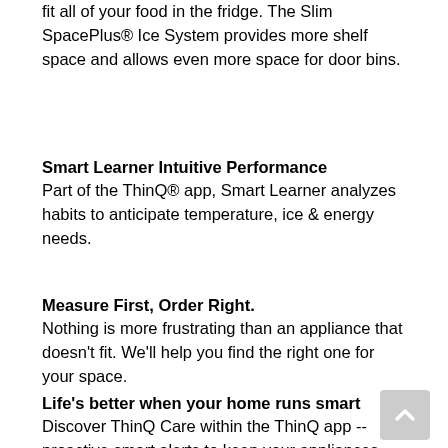fit all of your food in the fridge. The Slim SpacePlus® Ice System provides more shelf space and allows even more space for door bins.
Smart Learner Intuitive Performance
Part of the ThinQ® app, Smart Learner analyzes habits to anticipate temperature, ice & energy needs.
Measure First, Order Right.
Nothing is more frustrating than an appliance that doesn't fit. We'll help you find the right one for your space.
Life's better when your home runs smart
Discover ThinQ Care within the ThinQ app -- proactive smart alerts to keep your appliances running smoothly. Get notifications about usage, maintenance, plus early diagnosis right on your